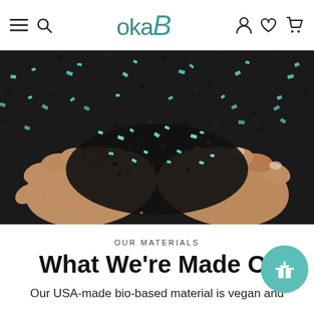oka-B navigation bar with hamburger menu, search icon, logo, user icon, heart icon, cart icon
[Figure (photo): Close-up photo of two hands cupping black and teal/mint colored recycled material fragments or granules, against a dark background]
OUR MATERIALS
What We're Made Of
Our USA-made bio-based material is vegan and